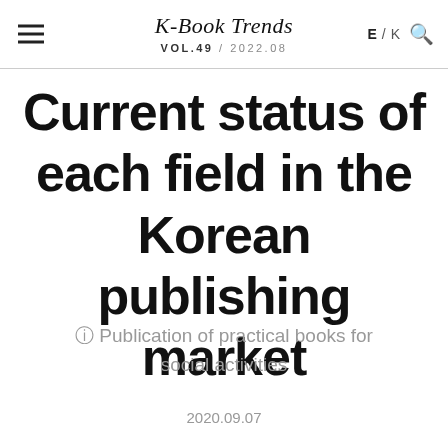K-Book Trends VOL.49 / 2022.08 E / K
Current status of each field in the Korean publishing market
⑧ Publication of practical books for social activities
2020.09.07